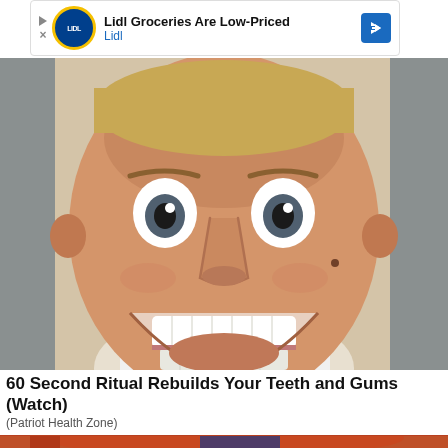[Figure (screenshot): Advertisement banner for Lidl Groceries showing Lidl logo, text 'Lidl Groceries Are Low-Priced' and 'Lidl', with a blue navigation arrow icon on the right, and play/close controls on the left]
[Figure (photo): Close-up photo of a man making a wide-eyed, open-mouthed grin expression showing his teeth, looking directly at the camera]
60 Second Ritual Rebuilds Your Teeth and Gums (Watch)
(Patriot Health Zone)
[Figure (photo): Partial photo of a person with red/orange hair pulled up, wearing a blue patterned headband/scrunchie, seen from behind]